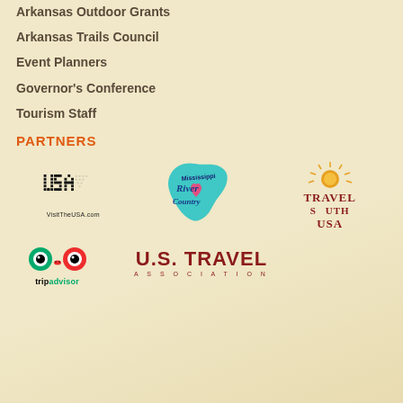Arkansas Outdoor Grants
Arkansas Trails Council
Event Planners
Governor's Conference
Tourism Staff
PARTNERS
[Figure (logo): VisitTheUSA.com logo with dot-matrix USA text and URL]
[Figure (logo): Mississippi River Country logo with teal USA map shape and script text]
[Figure (logo): Travel South USA logo with sun graphic and serif text]
[Figure (logo): TripAdvisor logo with owl icon]
[Figure (logo): U.S. Travel Association logo in dark red]